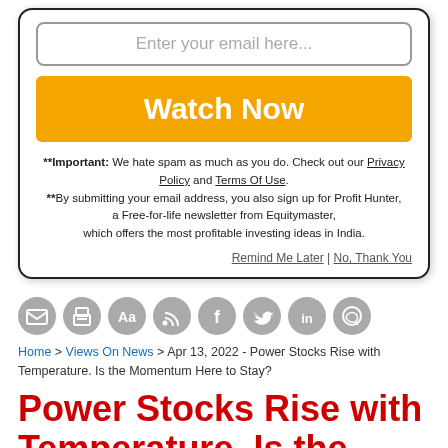[Figure (screenshot): Email signup modal with input field, Watch Now button, disclaimer text, and Remind Me Later / No Thank You links]
[Figure (infographic): Row of 8 circular social/action icons: message, print, font size, RSS, Facebook, Twitter, LinkedIn, WhatsApp]
Home > Views On News > Apr 13, 2022 - Power Stocks Rise with Temperature. Is the Momentum Here to Stay?
Power Stocks Rise with Temperature. Is the